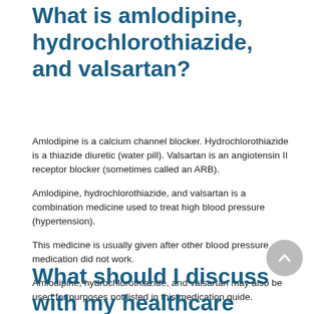What is amlodipine, hydrochlorothiazide, and valsartan?
Amlodipine is a calcium channel blocker. Hydrochlorothiazide is a thiazide diuretic (water pill). Valsartan is an angiotensin II receptor blocker (sometimes called an ARB).
Amlodipine, hydrochlorothiazide, and valsartan is a combination medicine used to treat high blood pressure (hypertension).
This medicine is usually given after other blood pressure medication did not work.
Amlodipine, hydrochlorothiazide, and valsartan may also be used for purposes not listed in this medication guide.
What should I discuss with my healthcare provider before